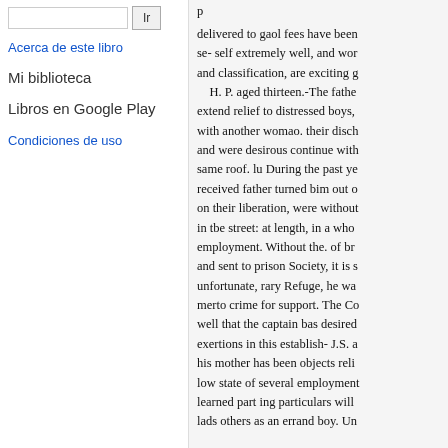Acerca de este libro
Mi biblioteca
Libros en Google Play
Condiciones de uso
delivered to gaol fees have been se- self extremely well, and work and classification, are exciting gr H. P. aged thirteen.-The father extend relief to distressed boys, n with another womao. their discha and were desirous continue with same roof. lu During the past yea received father turned bim out of on their liberation, were without in tbe street: at length, in a who p employment. Without the. of bre and sent to prison Society, it is so unfortunate, rary Refuge, he was merto crime for support. The Co well that the captain bas desired exertions in this establish- J.S. ag his mother has been objects relie low state of several employments learned part ing particulars will c lads others as an errand boy. Unf